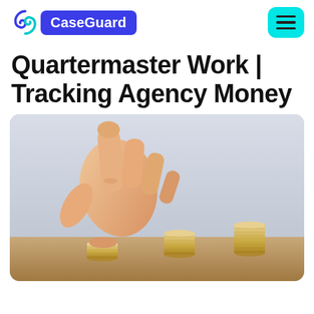CaseGuard
Quartermaster Work | Tracking Agency Money
[Figure (photo): A hand placing a coin on top of a small stack of coins, with three progressively taller stacks of coins arranged in a row on a wooden surface, suggesting financial growth or savings tracking.]